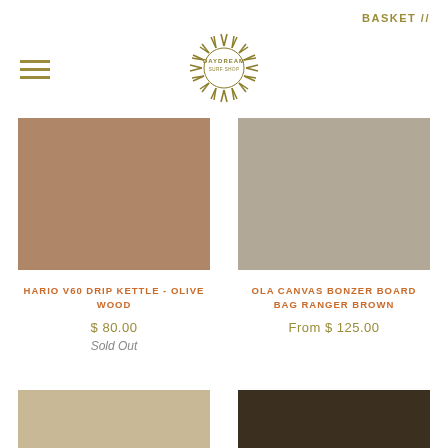BASKET //
[Figure (logo): Daydream Surf Shop circular logo with sunburst rays]
[Figure (photo): Solid warm brown/tan color swatch product image for Hario V60 Drip Kettle]
HARIO V60 DRIP KETTLE - OLIVE WOOD
$ 80.00
Sold Out
[Figure (photo): Solid warm gray/greige color swatch product image for Ola Canvas Bonzer Board Bag]
OLA CANVAS BONZER BOARD BAG RANGER BROWN
From $ 125.00
[Figure (photo): Partial light tan/khaki color swatch at bottom left]
[Figure (photo): Partial dark brown color swatch at bottom right]